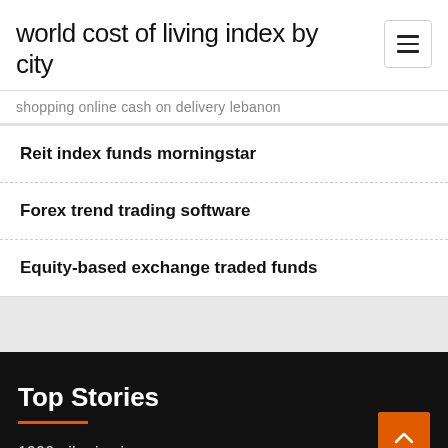world cost of living index by city
shopping online cash on delivery lebanon
Reit index funds morningstar
Forex trend trading software
Equity-based exchange traded funds
Top Stories
1990 oil price increase